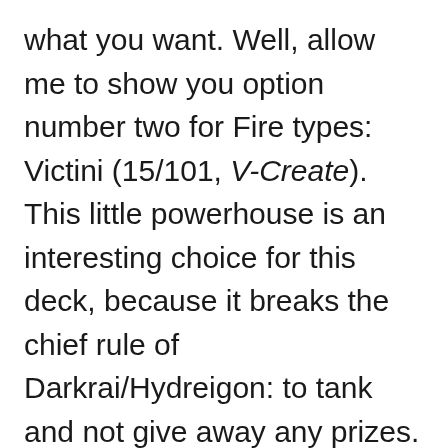what you want. Well, allow me to show you option number two for Fire types: Victini (15/101, V-Create). This little powerhouse is an interesting choice for this deck, because it breaks the chief rule of Darkrai/Hydreigon: to tank and not give away any prizes. At a miniscule 70 HP, Victini really isn't fitting into that mentality very well, as he is incredibly easy to KO.
However, that doesn't mean he should be overlooked. Victini delivers a